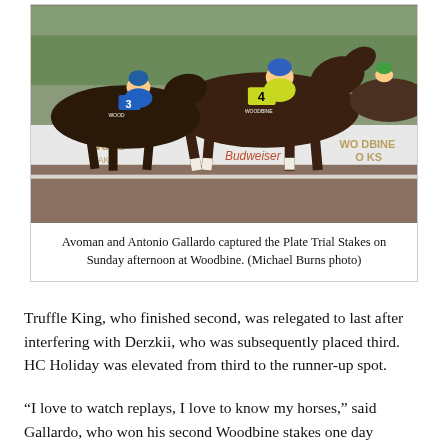[Figure (photo): Horse race photo showing horse number 4 (Woodbine) with jockey Antonio Gallardo in the lead, horse number 3 visible to the left. Woodbine Oaks and Budweiser signage visible in the background. Dirt track racing action shot.]
Avoman and Antonio Gallardo captured the Plate Trial Stakes on Sunday afternoon at Woodbine. (Michael Burns photo)
Truffle King, who finished second, was relegated to last after interfering with Derzkii, who was subsequently placed third. HC Holiday was elevated from third to the runner-up spot.
“I love to watch replays, I love to know my horses,” said Gallardo, who won his second Woodbine stakes one day